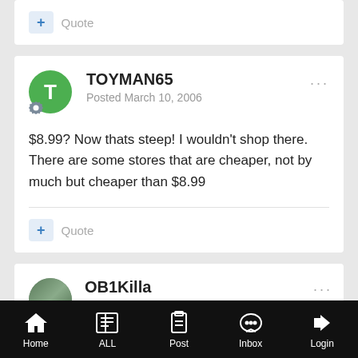[Figure (screenshot): Quote button with '+' icon and 'Quote' label from previous post]
TOYMAN65
Posted March 10, 2006

$8.99? Now thats steep! I wouldn't shop there. There are some stores that are cheaper, not by much but cheaper than $8.99
[Figure (screenshot): Quote button with '+' icon and 'Quote' label]
OB1Killa
[Figure (screenshot): Bottom navigation bar with Home, ALL, Post, Inbox, Login icons]